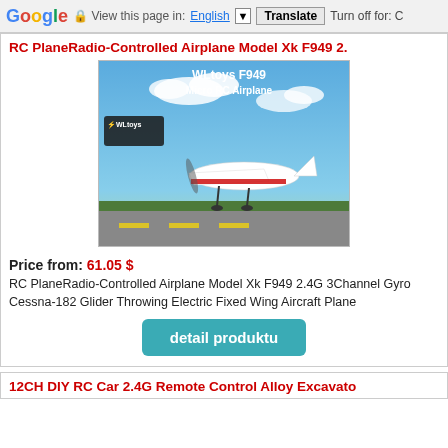Google | View this page in: English | Translate | Turn off for: C
RC PlaneRadio-Controlled Airplane Model Xk F949 2.
[Figure (photo): WLtoys F949 Micro RC Airplane product image showing a white and red Cessna-style RC airplane on a runway with blue sky background]
Price from: 61.05 $
RC PlaneRadio-Controlled Airplane Model Xk F949 2.4G 3Channel Gyro Cessna-182 Glider Throwing Electric Fixed Wing Aircraft Plane
detail produktu
12CH DIY RC Car 2.4G Remote Control Alloy Excavato